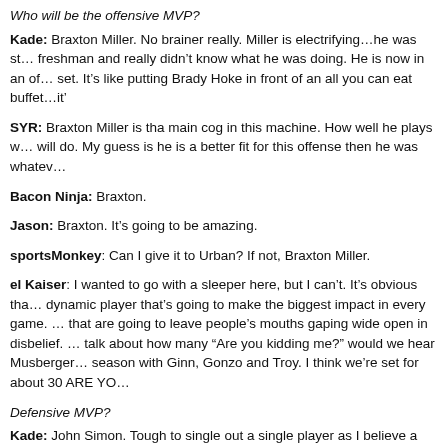Who will be the offensive MVP?
Kade: Braxton Miller. No brainer really. Miller is electrifying… he was st… freshman and really didn't know what he was doing. He is now in an of… set. It's like putting Brady Hoke in front of an all you can eat buffet… it'…
SYR: Braxton Miller is tha main cog in this machine. How well he plays w… will do. My guess is he is a better fit for this offense then he was whatev…
Bacon Ninja: Braxton.
Jason: Braxton. It's going to be amazing.
sportsMonkey: Can I give it to Urban? If not, Braxton Miller.
el Kaiser: I wanted to go with a sleeper here, but I can't. It's obvious tha… dynamic player that's going to make the biggest impact in every game. … that are going to leave people's mouths gaping wide open in disbelief. … talk about how many "Are you kidding me?" would we hear Musberger … season with Ginn, Gonzo and Troy. I think we're set for about 30 ARE YO…
Defensive MVP?
Kade: John Simon. Tough to single out a single player as I believe a defe… starts up front. A strong defensive line means that the linebackers are…